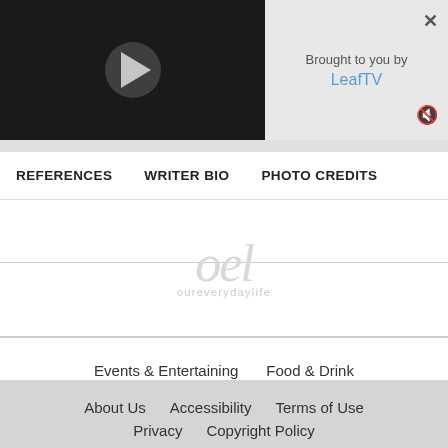[Figure (screenshot): Video player with dark background and play button]
Brought to you by LeafTV
REFERENCES    WRITER BIO    PHOTO CREDITS
[Figure (logo): oureverydaylife script logo watermark with horizontal lines]
Events & Entertaining    Food & Drink
Relationships & Family    Style    Weddings
About Us    Accessibility    Terms of Use
Privacy    Copyright Policy